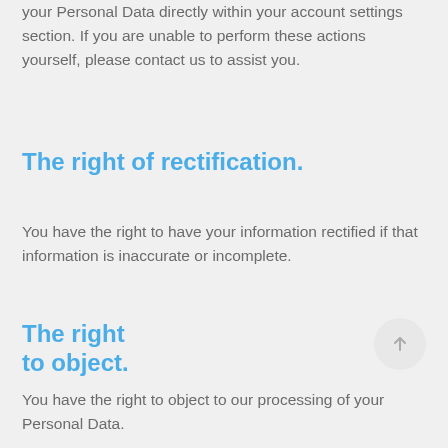your Personal Data directly within your account settings section. If you are unable to perform these actions yourself, please contact us to assist you.
The right of rectification.
You have the right to have your information rectified if that information is inaccurate or incomplete.
The right to object.
You have the right to object to our processing of your Personal Data.